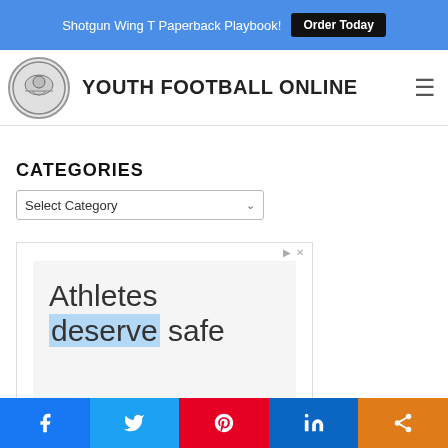Shotgun Wing T Paperback Playbook! Order Today
YOUTH FOOTBALL ONLINE
CATEGORIES
Select Category
[Figure (screenshot): Advertisement showing text 'Athletes deserve safe' on white background]
Facebook Twitter Pinterest LinkedIn Share